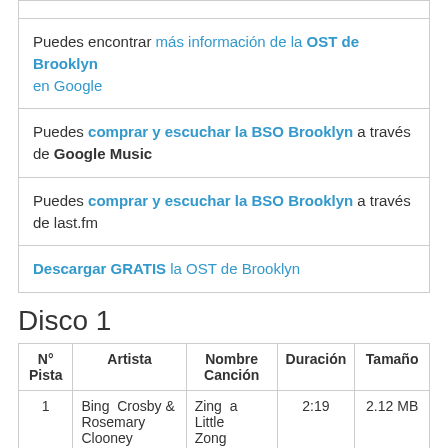Puedes encontrar más información de la OST de Brooklyn en Google
Puedes comprar y escuchar la BSO Brooklyn a través de Google Music
Puedes comprar y escuchar la BSO Brooklyn a través de last.fm
Descargar GRATIS la OST de Brooklyn
Disco 1
| Nº Pista | Artista | Nombre Canción | Duración | Tamaño |
| --- | --- | --- | --- | --- |
| 1 | Bing Crosby & Rosemary Clooney | Zing a Little Zong | 2:19 | 2.12 MB |
| 2 | Fiachna O Mongain & | Castle Finn | 2:40 | 2.45 MB |